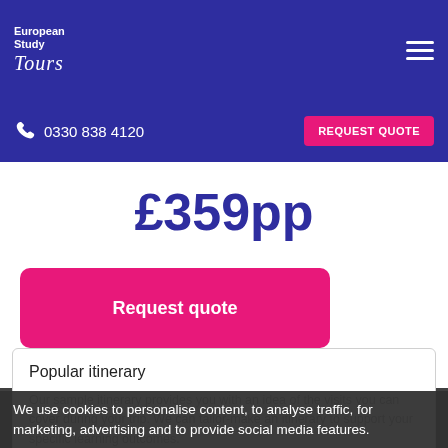European Study Tours
0330 838 4120
REQUEST QUOTE
£359pp
Request quote
Popular itinerary
Our sample itinerary provides you with an idea of the visits you can cover during your trip. We can tailor-make an itinerary to support your specific learning outcomes.
We use cookies to personalise content, to analyse traffic, for marketing, advertising and to provide social media features.